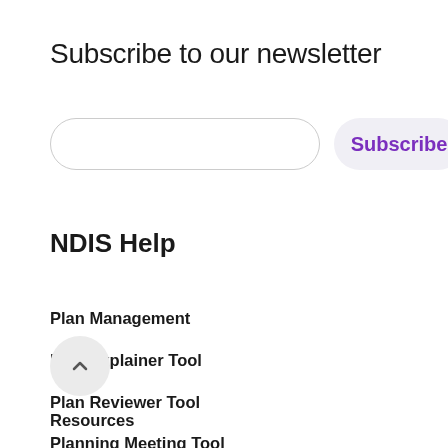Subscribe to our newsletter
[Figure (screenshot): Email input field (rounded rectangle, empty) and a Subscribe button (rounded rectangle, purple text on light grey background)]
NDIS Help
Plan Management
Plan Explainer Tool
Plan Reviewer Tool
Planning Meeting Tool
Resources